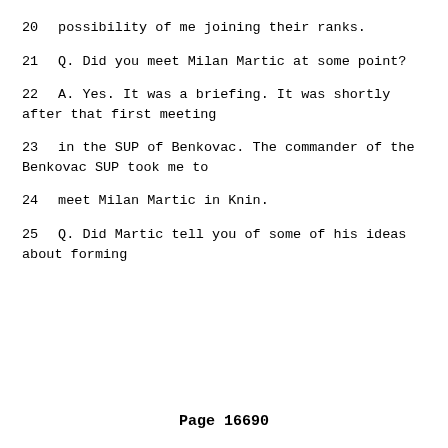20    possibility of me joining their ranks.
21        Q.   Did you meet Milan Martic at some point?
22        A.   Yes.  It was a briefing.  It was shortly after that first meeting
23     in the SUP of Benkovac.  The commander of the Benkovac SUP took me to
24      meet Milan Martic in Knin.
25        Q.   Did Martic tell you of some of his ideas about forming
Page 16690